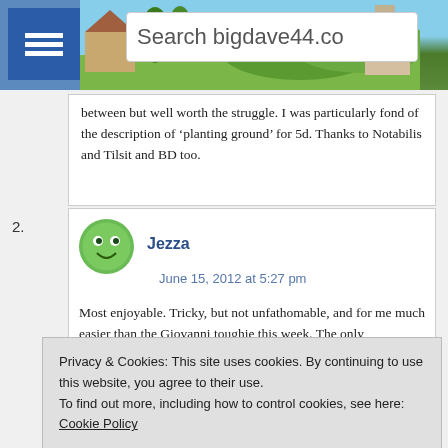Search bigdave44.co
between but well worth the struggle. I was particularly fond of the description of ‘planting ground’ for 5d. Thanks to Notabilis and Tilsit and BD too.
2. Jezza
June 15, 2012 at 5:27 pm
Most enjoyable. Tricky, but not unfathomable, and for me much easier than the Giovanni toughie this week. The only
Privacy & Cookies: This site uses cookies. By continuing to use this website, you agree to their use.
To find out more, including how to control cookies, see here: Cookie Policy
Close and accept